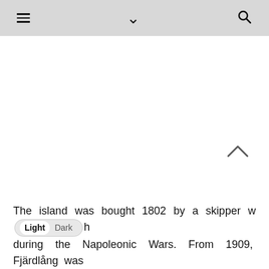≡  ∨  🔍
The island was bought 1802 by a skipper w [Light | Dark] h during the Napoleonic Wars. From 1909, Fjärdlång was